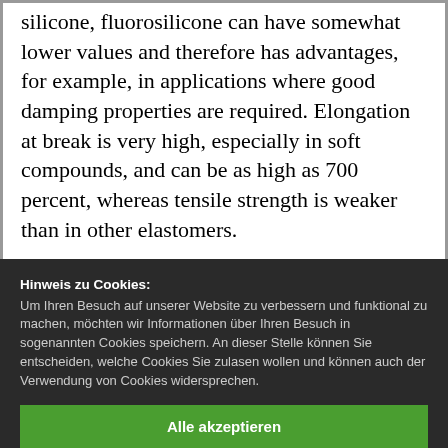silicone, fluorosilicone can have somewhat lower values and therefore has advantages, for example, in applications where good damping properties are required. Elongation at break is very high, especially in soft compounds, and can be as high as 700 percent, whereas tensile strength is weaker than in other elastomers.
Hinweis zu Cookies: Um Ihren Besuch auf unserer Website zu verbessern und funktional zu machen, möchten wir Informationen über Ihren Besuch in sogenannten Cookies speichern. An dieser Stelle können Sie entscheiden, welche Cookies Sie zulasen wollen und können auch der Verwendung von Cookies widersprechen.
Alle akzeptieren
Speichern & Schließen
Cookies zulassen: Notwendig Marketing Details